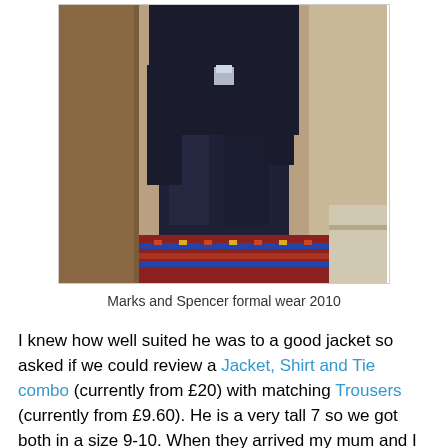[Figure (photo): A person wearing a dark navy/black suit (jacket and trousers) standing on a patterned red/blue carpet, photographed from torso down to feet. A wooden furniture piece is visible in the background.]
Marks and Spencer formal wear 2010
I knew how well suited he was to a good jacket so asked if we could review a Jacket, Shirt and Tie combo (currently from £20) with matching Trousers (currently from £9.60). He is a very tall 7 so we got both in a size 9-10. When they arrived my mum and I were impressed with the quality and the little details such as the matching fake handkerchief in